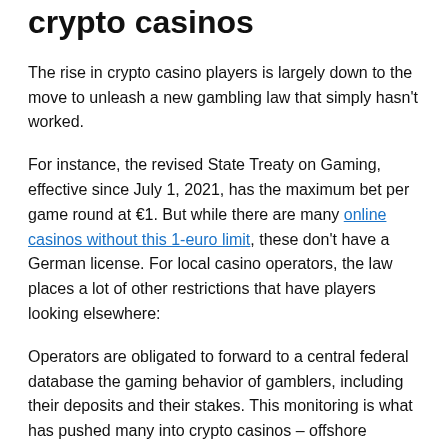crypto casinos
The rise in crypto casino players is largely down to the move to unleash a new gambling law that simply hasn't worked.
For instance, the revised State Treaty on Gaming, effective since July 1, 2021, has the maximum bet per game round at €1. But while there are many online casinos without this 1-euro limit, these don't have a German license. For local casino operators, the law places a lot of other restrictions that have players looking elsewhere:
Operators are obligated to forward to a central federal database the gaming behavior of gamblers, including their deposits and their stakes. This monitoring is what has pushed many into crypto casinos – offshore casinos whose business operations are on exotic islands such as Curacao – where they can gamble pseudo-anonymously.